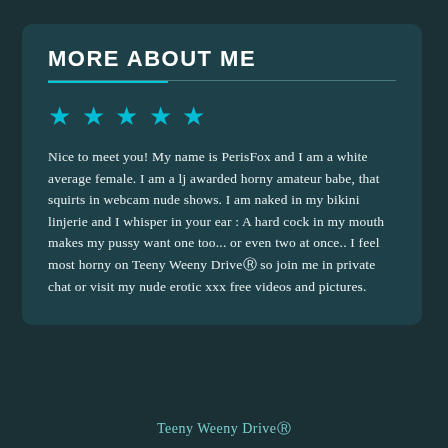MORE ABOUT ME
Nice to meet you! My name is PerisFox and I am a white average female. I am a lj awarded horny amateur babe, that squirts in webcam nude shows. I am naked in my bikini linjerie and I whisper in your ear : A hard cock in my mouth makes my pussy want one too... or even two at once.. I feel most horny on Teeny Weeny DriveⓇ so join me in private chat or visit my nude erotic xxx free videos and pictures.
Teeny Weeny DriveⓇ